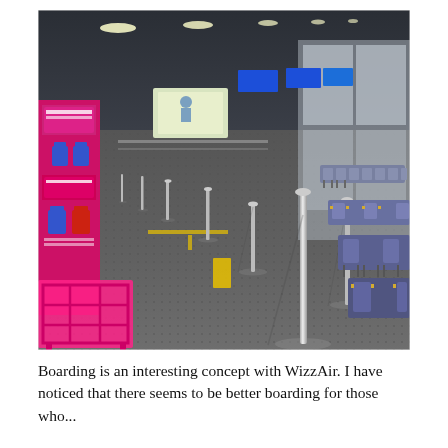[Figure (photo): An empty airport boarding area with a dark patterned carpet floor. On the left side there is a pink/magenta luggage sizer frame and a boarding information stand with WizzAir branding showing bag size rules. Multiple silver stanchion posts are arranged in a queue lane pattern across the floor with yellow markers. In the background there are rows of grey airport seats along the right wall, screens, and a long corridor receding into the distance with overhead lighting.]
Boarding is an interesting concept with WizzAir. I have
noticed that there seems to be better boarding for those who...